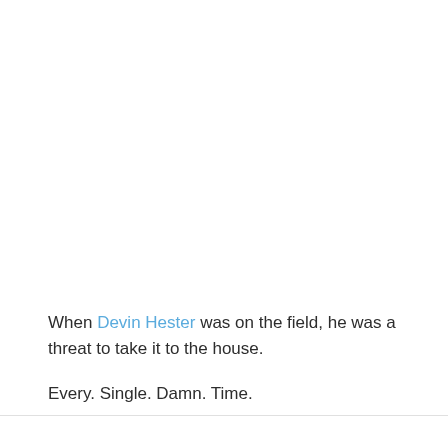When Devin Hester was on the field, he was a threat to take it to the house.
Every. Single. Damn. Time.